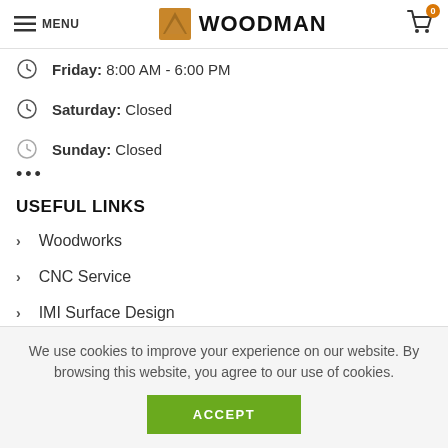MENU | WOODMAN | Cart 0
Friday: 8:00 AM - 6:00 PM
Saturday: Closed
Sunday: Closed
USEFUL LINKS
Woodworks
CNC Service
IMI Surface Design
We use cookies to improve your experience on our website. By browsing this website, you agree to our use of cookies.
ACCEPT